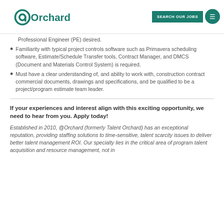@Orchard | SEARCH OUR JOBS
Professional Engineer (PE) desired.
Familiarity with typical project controls software such as Primavera scheduling software, Estimate/Schedule Transfer tools, Contract Manager, and DMCS (Document and Materials Control System) is required.
Must have a clear understanding of, and ability to work with, construction contract commercial documents, drawings and specifications, and be qualified to be a project/program estimate team leader.
If your experiences and interest align with this exciting opportunity, we need to hear from you. Apply today!
Established in 2010, @Orchard (formerly Talent Orchard) has an exceptional reputation, providing staffing solutions to time-sensitive, talent scarcity issues to deliver better talent management ROI. Our specialty lies in the critical area of program talent acquisition and resource management, not in